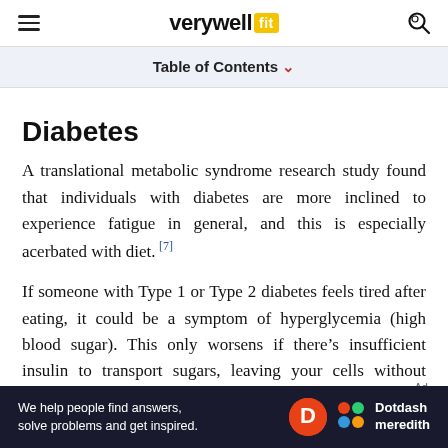verywell fit
Table of Contents
Diabetes
A translational metabolic syndrome research study found that individuals with diabetes are more inclined to experience fatigue in general, and this is especially acerbated with diet. [7]
If someone with Type 1 or Type 2 diabetes feels tired after eating, it could be a symptom of hyperglycemia (high blood sugar). This only worsens if there's insufficient insulin to transport sugars, leaving your cells without enough energy,
[Figure (logo): Dotdash Meredith advertisement banner with white text on dark background]